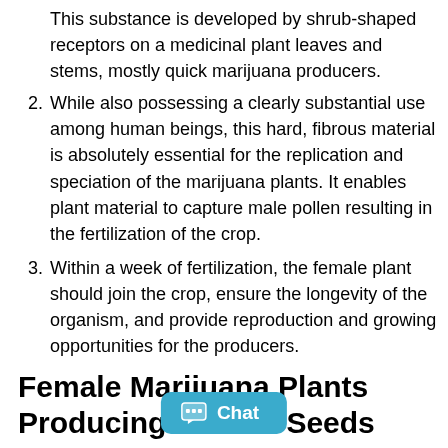This substance is developed by shrub-shaped receptors on a medicinal plant leaves and stems, mostly quick marijuana producers.
2. While also possessing a clearly substantial use among human beings, this hard, fibrous material is absolutely essential for the replication and speciation of the marijuana plants. It enables plant material to capture male pollen resulting in the fertilization of the crop.
3. Within a week of fertilization, the female plant should join the crop, ensure the longevity of the organism, and provide reproduction and growing opportunities for the producers.
Female Marijuana Plants Producing Female Seeds
Everyone who has ever enjoyed a … utes their